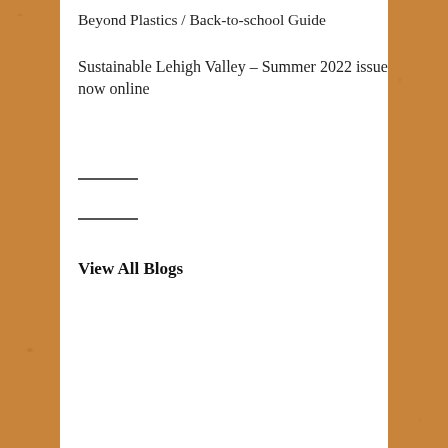Beyond Plastics / Back-to-school Guide
Sustainable Lehigh Valley – Summer 2022 issue now online
View All Blogs
To-Do
Calls to Action
Find the Alliance on Facebook